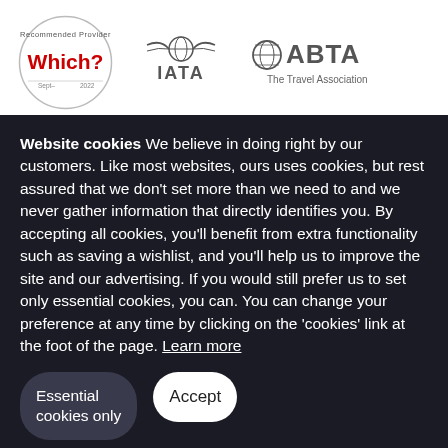[Figure (logo): Which? Recommended Provider badge (circular, Sept 2022)]
[Figure (logo): IATA logo with wings/globe icon]
[Figure (logo): ABTA The Travel Association logo with globe icon]
Website cookies We believe in doing right by our customers. Like most websites, ours uses cookies, but rest assured that we don’t set more than we need to and we never gather information that directly identifies you. By accepting all cookies, you’ll benefit from extra functionality such as saving a wishlist, and you’ll help us to improve the site and our advertising. If you would still prefer us to set only essential cookies, you can. You can change your preference at any time by clicking on the ‘cookies’ link at the foot of the page. Learn more
Essential cookies only
Accept